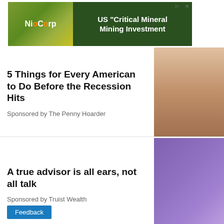[Figure (photo): NioCorp advertisement banner with green background, plant imagery, and text 'US Critical Mineral Mining Investment']
5 Things for Every American to Do Before the Recession Hits
Sponsored by The Penny Hoarder
[Figure (photo): Thumbnail image of a woman with blonde hair holding an orange bottle]
A true advisor is all ears, not all talk
Sponsored by Truist Wealth
[Figure (photo): Thumbnail image of a bald man with glasses in a suit seated against a purple background]
United States
[Figure (photo): Blurred image of a white building (possibly government/capitol building) against a dark blue background]
Feedback